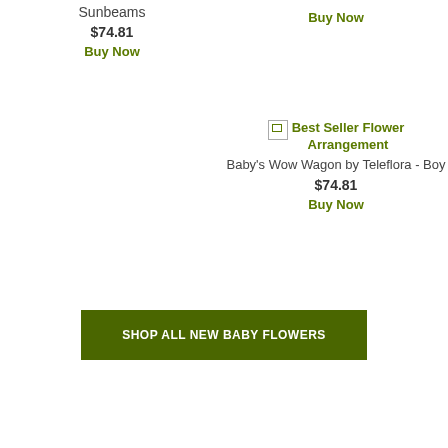Sunbeams
$74.81
Buy Now
Buy Now
[Figure (illustration): Broken image placeholder for Best Seller Flower Arrangement]
Best Seller Flower Arrangement
Baby's Wow Wagon by Teleflora - Boy
$74.81
Buy Now
SHOP ALL NEW BABY FLOWERS